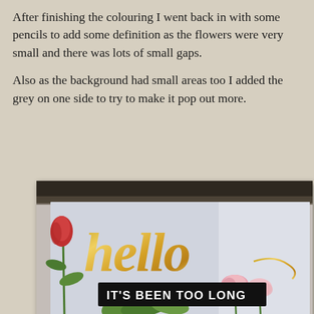After finishing the colouring I went back in with some pencils to add some definition as the flowers were very small and there was lots of small gaps.
Also as the background had small areas too I added the grey on one side to try to make it pop out more.
[Figure (photo): A handmade greeting card photographed at an angle on a textured background. The card features gold foil script text reading 'hello' and a black banner with white uppercase text 'IT'S BEEN TOO LONG'. Colorful tulips (red on left, pink at bottom right) and green leaves are illustrated on a light grey-blue card background.]